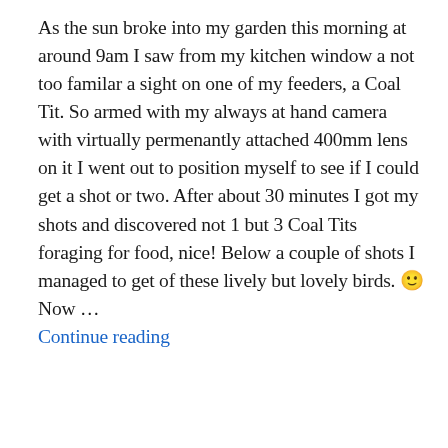As the sun broke into my garden this morning at around 9am I saw from my kitchen window a not too familar a sight on one of my feeders, a Coal Tit. So armed with my always at hand camera with virtually permenantly attached 400mm lens on it I went out to position myself to see if I could get a shot or two. After about 30 minutes I got my shots and discovered not 1 but 3 Coal Tits foraging for food, nice! Below a couple of shots I managed to get of these lively but lovely birds. 🙂 Now … Continue reading
SIGHTINGS
4 COMMENTS
Sutton on Sea / Mablethorpe 6/10/12